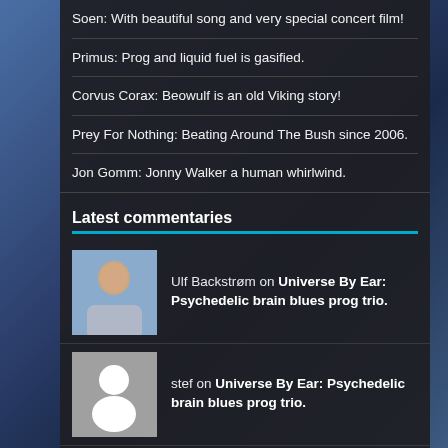Soen: With beautiful song and very special concert film!
Primus: Prog and liquid fuel is gasified.
Corvus Corax: Beowulf is an old Viking story!
Prey For Nothing: Beating Around The Bush since 2006.
Jon Gomm: Jonny Walker a human whirlwind.
Latest commentaries
Ulf Backstrøm on Universe By Ear: Psychedelic brain blues prog trio.
stef on Universe By Ear: Psychedelic brain blues prog trio.
Ulf Backstrøm on BlackLight: From Cracow!
Permafrost in social media